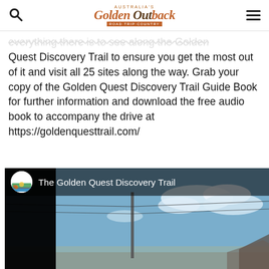Australia's Golden Outback — Road Trip Country [logo], search icon, menu icon
everything there is to see along the Golden Quest Discovery Trail to ensure you get the most out of it and visit all 25 sites along the way. Grab your copy of the Golden Quest Discovery Trail Guide Book for further information and download the free audio book to accompany the drive at https://goldenquesttrail.com/
[Figure (screenshot): YouTube video thumbnail showing 'The Golden Quest Discovery Trail' with a channel avatar (circular logo with landscape/train illustration), video title text in white on dark overlay, and a background photograph of a rural street scene with a utility pole against a blue sky with clouds.]